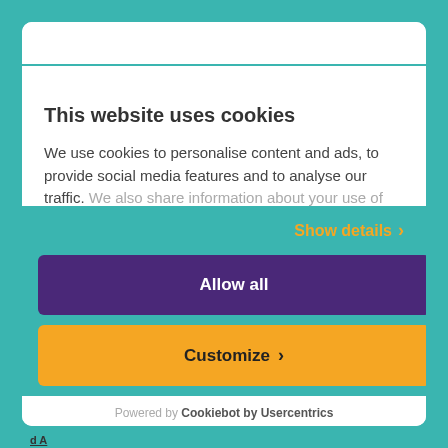This website uses cookies
We use cookies to personalise content and ads, to provide social media features and to analyse our traffic. We also share information about your use of our site with our social media, advertising and analytics partners
Show details
Allow all
Customize
Powered by Cookiebot by Usercentrics